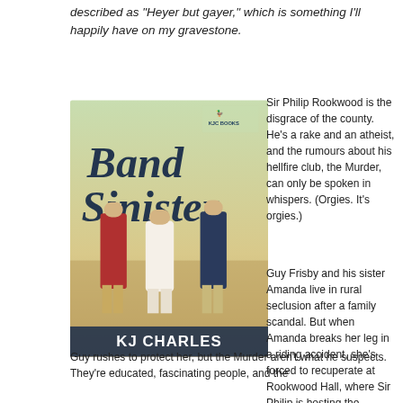described as “Heyer but gayer,” which is something I’ll happily have on my gravestone.
[Figure (illustration): Book cover of 'Band Sinister' by KJ Charles, published by KJC Books. Shows three Regency-era figures (two men and a woman in white dress) standing in a pastoral landscape. Large decorative text reads 'BAND SINISTER' with 'KJ CHARLES' at the bottom.]
Sir Philip Rookwood is the disgrace of the county. He’s a rake and an atheist, and the rumours about his hellfire club, the Murder, can only be spoken in whispers. (Orgies. It’s orgies.)
Guy Frisby and his sister Amanda live in rural seclusion after a family scandal. But when Amanda breaks her leg in a riding accident, she’s forced to recuperate at Rookwood Hall, where Sir Philip is hosting the Murder.
Guy rushes to protect her, but the Murder aren’t what he suspects. They’re educated, fascinating people, and the